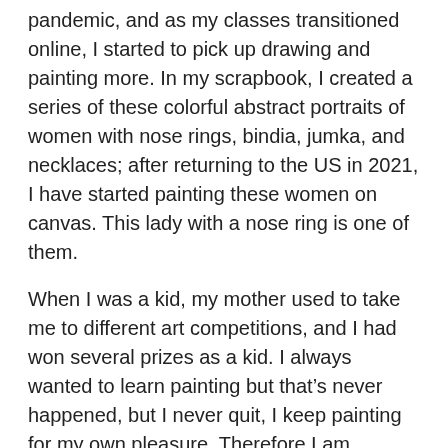pandemic, and as my classes transitioned online, I started to pick up drawing and painting more. In my scrapbook, I created a series of these colorful abstract portraits of women with nose rings, bindia, jumka, and necklaces; after returning to the US in 2021, I have started painting these women on canvas. This lady with a nose ring is one of them.
When I was a kid, my mother used to take me to different art competitions, and I had won several prizes as a kid. I always wanted to learn painting but that’s never happened, but I never quit, I keep painting for my own pleasure. Therefore I am honored and happy to be selected in the Team Kentucky Gallery.
I love playing with colors. In this selected painting I was trying to experiment with primary colors within a simple, abstract form. The fact that one and the same color can perform many different roles fascinates me. That’s what I intended to catch in this painting: different roles of color.